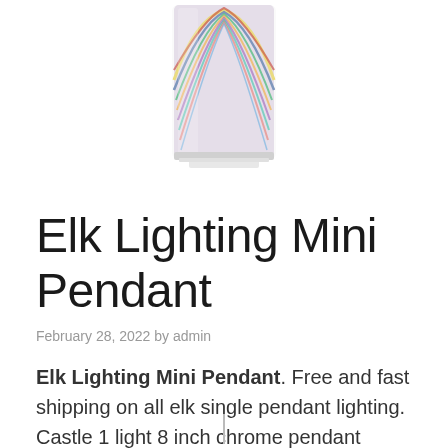[Figure (photo): Colorful glass mini pendant lamp shade with multicolored swirling pattern, partially visible at top of page]
Elk Lighting Mini Pendant
February 28, 2022 by admin
Elk Lighting Mini Pendant. Free and fast shipping on all elk single pendant lighting. Castle 1 light 8 inch chrome pendant ceiling light, small.
[Figure (photo): Bottom portion of pendant lamp cord/stem, partially visible at bottom of page]